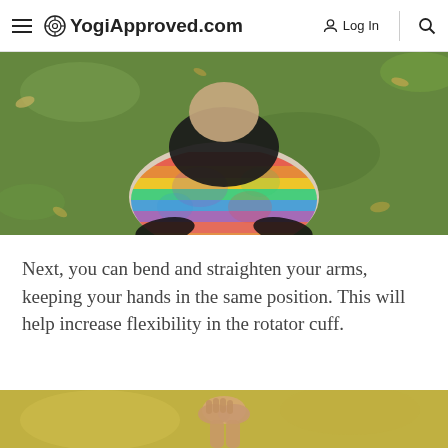YogiApproved.com  Log In
[Figure (photo): Overhead view of a person in colorful rainbow tie-dye yoga pants sitting cross-legged on green grass with fallen leaves around them, wearing a black top, photographed from above.]
Next, you can bend and straighten your arms, keeping your hands in the same position. This will help increase flexibility in the rotator cuff.
[Figure (photo): Partial view of a person's hands clasped together above green grass in sunlight, bottom portion of image cropped.]